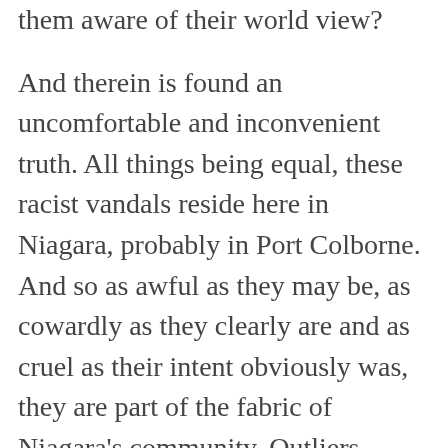them aware of their world view?
And therein is found an uncomfortable and inconvenient truth. All things being equal, these racist vandals reside here in Niagara, probably in Port Colborne. And so as awful as they may be, as cowardly as they clearly are and as cruel as their intent obviously was, they are part of the fabric of Niagara's community. Outliers perhaps, but still part of the community nonetheless.
Which means the rest of the community ought to speak out and show support to the victims of this